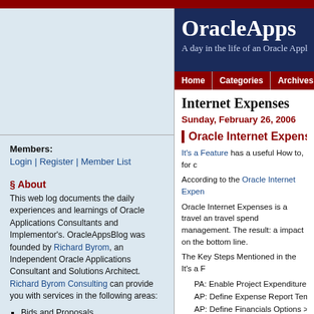OracleApps - A day in the life of an Oracle Applications consultant
Home | Categories | Archives | C
Members:
Login | Register | Member List
§ About
This web log documents the daily experiences and learnings of Oracle Applications Consultants and Implementor's. OracleAppsBlog was founded by Richard Byrom, an Independent Oracle Applications Consultant and Solutions Architect. Richard Byrom Consulting can provide you with services in the following areas:
Bids and Proposals
Business Consulting and Analysis
Information Technology (IT) Strategy
Solutions Architecting
Enterprise Resource Plannning (ERP) Implementations
Writing and Presenting
Internet Expenses
Sunday, February 26, 2006
Oracle Internet Expense
It's a Feature has a useful How to, for c
According to the Oracle Internet Expen
Oracle Internet Expenses is a travel and travel spend management. The result: a impact on the bottom line.
The Key Steps Mentioned in the It's a F
1. PA: Enable Project Expenditure Ty
2. AP: Define Expense Report Templ
3. AP: Define Financials Options > A